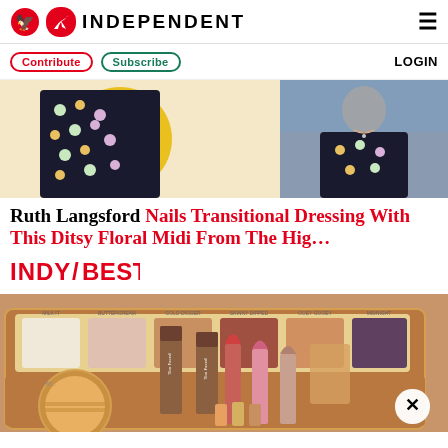INDEPENDENT
Contribute | Subscribe | LOGIN
[Figure (photo): Two images of Ruth Langsford wearing a ditsy floral midi dress — one on a white/yellow background, one in a TV studio setting]
Ruth Langsford Nails Transitional Dressing With This Ditsy Floral Midi From The Hig…
[Figure (logo): INDY/BEST logo in red]
[Figure (photo): Too Faced makeup cosmetics palette and lipsticks in warm pink and red tones]